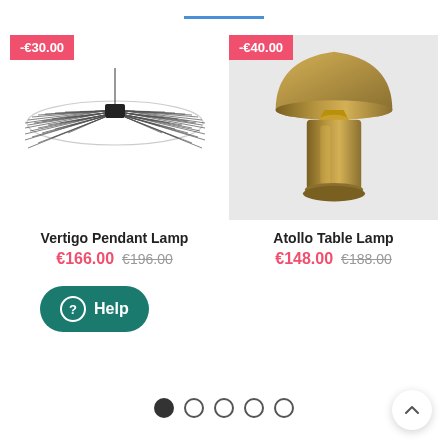[Figure (other): Blue horizontal line divider at top of page]
[Figure (photo): Vertigo Pendant Lamp product image — a wide flat UFO-shaped black ceiling pendant lamp with fine radial wire spokes. Discount badge: -€30.00]
[Figure (photo): Atollo Table Lamp product image — a gold/brass mushroom-shaped table lamp with dome top and cylindrical base. Discount badge: -€40.00]
Vertigo Pendant Lamp
€166.00   €196.00
Atollo Table Lamp
€148.00   €188.00
[Figure (other): Help button — teal rounded button with question mark circle icon and text 'Help']
[Figure (other): Pagination dots — 5 circles, first filled (active), rest empty]
[Figure (other): Back to top chevron button — white circle with upward arrow, bottom right]